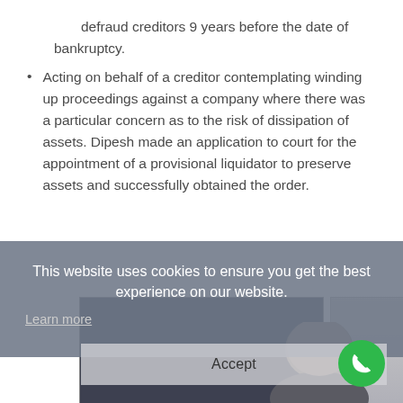defraud creditors 9 years before the date of bankruptcy.
Acting on behalf of a creditor contemplating winding up proceedings against a company where there was a particular concern as to the risk of dissipation of assets. Dipesh made an application to court for the appointment of a provisional liquidator to preserve assets and successfully obtained the order.
[Figure (screenshot): Cookie consent overlay banner on a law firm website showing 'This website uses cookies to ensure you get the best experience on our website.' with a 'Learn more' link and 'Accept' button, overlaid on a blurred photo of a man.]
[Figure (photo): Partially visible photo of a bald man behind the cookie consent overlay, with a green phone call button in the bottom right corner.]